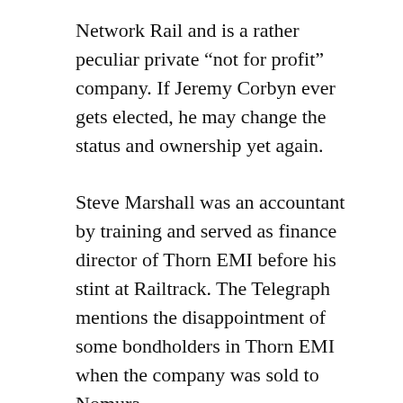Network Rail and is a rather peculiar private “not for profit” company. If Jeremy Corbyn ever gets elected, he may change the status and ownership yet again.
Steve Marshall was an accountant by training and served as finance director of Thorn EMI before his stint at Railtrack. The Telegraph mentions the disappointment of some bondholders in Thorn EMI when the company was sold to Nomura.
After Railtrack, Marshall took on the role of troubleshooter being involved with Queens Moat Hotels, Delta, Torex Retail, Balfour Beatty, Biffa and Wincanton. The Telegraph